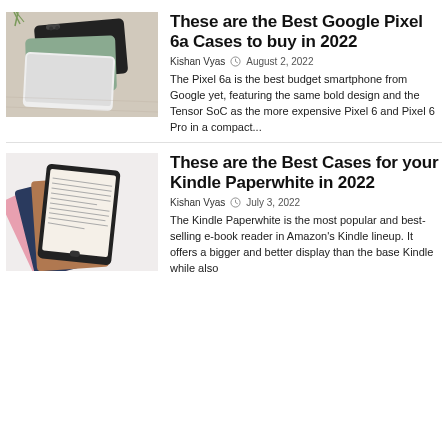[Figure (photo): Multiple Google Pixel 6a phones laid flat on a wooden table, showing different color options including black, sage green, and white]
These are the Best Google Pixel 6a Cases to buy in 2022
Kishan Vyas  August 2, 2022
The Pixel 6a is the best budget smartphone from Google yet, featuring the same bold design and the Tensor SoC as the more expensive Pixel 6 and Pixel 6 Pro in a compact...
[Figure (photo): Multiple Kindle Paperwhite cases fanned out showing different colors including pink, navy blue, brown/wood, and a Kindle device on top]
These are the Best Cases for your Kindle Paperwhite in 2022
Kishan Vyas  July 3, 2022
The Kindle Paperwhite is the most popular and best-selling e-book reader in Amazon's Kindle lineup. It offers a bigger and better display than the base Kindle while also